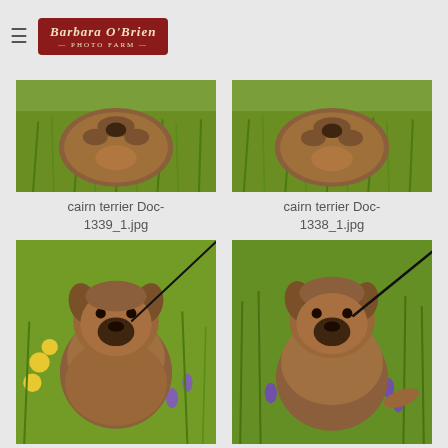Barbara O'Brien Photo Farm
[Figure (photo): Cairn terrier dog photographed in grass from above]
cairn terrier Doc-1339_1.jpg
[Figure (photo): Cairn terrier dog photographed in grass from above]
cairn terrier Doc-1338_1.jpg
[Figure (photo): Cairn terrier dog sitting among wildflowers looking at camera]
cairn terrier Doc-1337_1.jpg
[Figure (photo): Cairn terrier dog on leash among greenery looking at camera]
cairn terrier Doc-1353.jpg